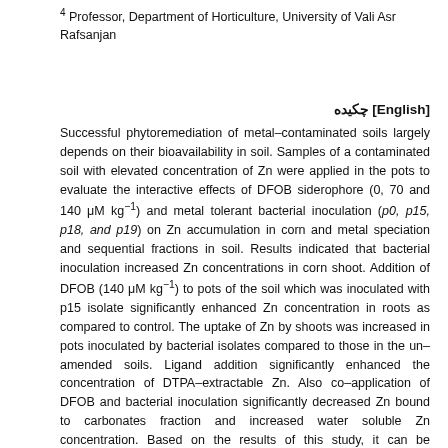4 Professor, Department of Horticulture, University of Vali Asr Rafsanjan
چکیده [English]
Successful phytoremediation of metal–contaminated soils largely depends on their bioavailability in soil. Samples of a contaminated soil with elevated concentration of Zn were applied in the pots to evaluate the interactive effects of DFOB siderophore (0, 70 and 140 μM kg⁻¹) and metal tolerant bacterial inoculation (p0, p15, p18, and p19) on Zn accumulation in corn and metal speciation and sequential fractions in soil. Results indicated that bacterial inoculation increased Zn concentrations in corn shoot. Addition of DFOB (140 μM kg⁻¹) to pots of the soil which was inoculated with p15 isolate significantly enhanced Zn concentration in roots as compared to control. The uptake of Zn by shoots was increased in pots inoculated by bacterial isolates compared to those in the un–amended soils. Ligand addition significantly enhanced the concentration of DTPA–extractable Zn. Also co–application of DFOB and bacterial inoculation significantly decreased Zn bound to carbonates fraction and increased water soluble Zn concentration. Based on the results of this study, it can be concluded that co–application of DFOB and metal tolerant bacteria are efficient in increasing the bioavailability of Zn when expressed relative to the control treatment which might be of great